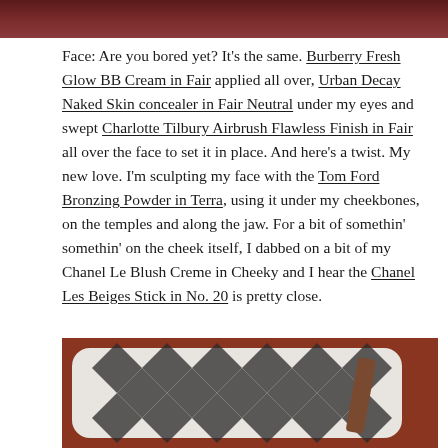[Figure (photo): Top portion of a dark reddish-brown background image, cropped at top of page]
Face: Are you bored yet? It's the same. Burberry Fresh Glow BB Cream in Fair applied all over, Urban Decay Naked Skin concealer in Fair Neutral under my eyes and swept Charlotte Tilbury Airbrush Flawless Finish in Fair all over the face to set it in place. And here's a twist. My new love. I'm sculpting my face with the Tom Ford Bronzing Powder in Terra, using it under my cheekbones, on the temples and along the jaw. For a bit of somethin' somethin' on the cheek itself, I dabbed on a bit of my Chanel Le Blush Creme in Cheeky and I hear the Chanel Les Beiges Stick in No. 20 is pretty close.
[Figure (photo): Bottom portion showing a decorative item with black and white diamond/harlequin pattern on a reddish-brown background]